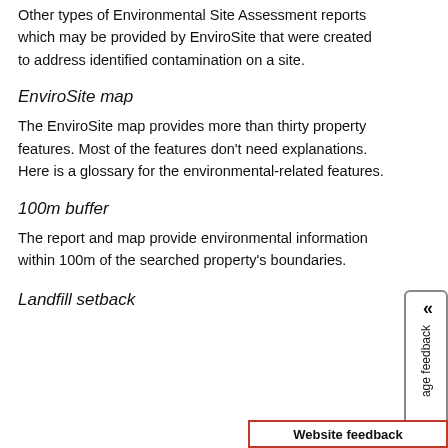Other types of Environmental Site Assessment reports which may be provided by EnviroSite that were created to address identified contamination on a site.
EnviroSite map
The EnviroSite map provides more than thirty property features. Most of the features don't need explanations. Here is a glossary for the environmental-related features.
100m buffer
The report and map provide environmental information within 100m of the searched property's boundaries.
Landfill setback
Website feedback